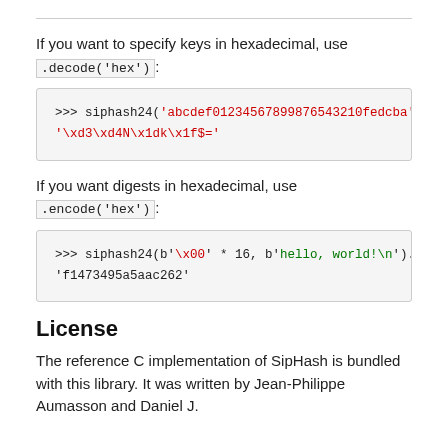If you want to specify keys in hexadecimal, use .decode('hex'):
[Figure (screenshot): Code block showing: >>> siphash24('abcdef0123456789987654321 0fedcba'.d '\xd3\xd4N\x1dk\x1f$=']
If you want digests in hexadecimal, use .encode('hex'):
[Figure (screenshot): Code block showing: >>> siphash24(b'\x00' * 16, b'hello, world!\n').en 'f1473495a5aac262']
License
The reference C implementation of SipHash is bundled with this library. It was written by Jean-Philippe Aumasson and Daniel J.